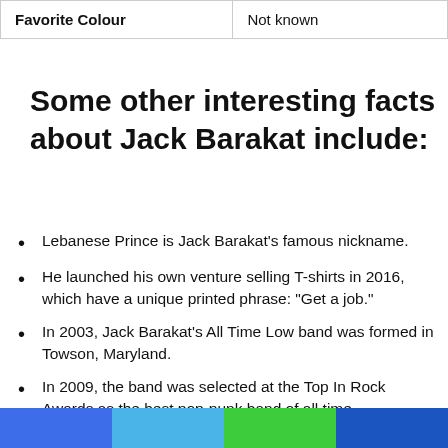| Favorite Colour | Not known |
Some other interesting facts about Jack Barakat include:
Lebanese Prince is Jack Barakat's famous nickname.
He launched his own venture selling T-shirts in 2016, which have a unique printed phrase: “Get a job.”
In 2003, Jack Barakat's All Time Low band was formed in Towson, Maryland.
In 2009, the band was selected at the Top In Rock Awards as the best pop-punk band of all time.
His most hit songs are “For Baltimore,” “A Love Like War,” and “Kids in the Dark,” as well as others.
Jack Barakat has multiple funniest tattoos on his body